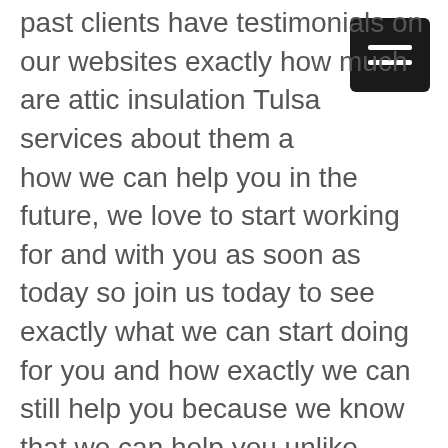past clients have testimonials on our websites exactly how much are attic insulation Tulsa services about them and how we can help you in the future, we love to start working for and with you as soon as today so join us today to see exactly what we can start doing for you and how exactly we can still help you because we know that we can help you unlike anyone else so join us today to see exactly will we can start doing for you because we know that we can help you unlike anyone else to be a part of our teams as soon as today.
Our priority is to make us out of you. It's a give you the best thing up your back and